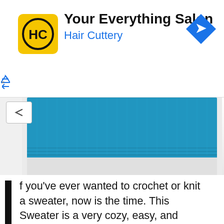[Figure (advertisement): Hair Cuttery advertisement banner with yellow HC logo, 'Your Everything Salon' headline, 'Hair Cuttery' subtitle in blue, and blue diamond navigation arrow icon on the right]
[Figure (photo): Partial view of a blue crocheted/knitted sweater neckline on a white background]
If you've ever wanted to crochet or knit a sweater, now is the time. This Sweater is a very cozy, easy, and comfy with modern design.
The Crochet Autumn Leaves Sweater is crocheted using very interesting crochet techniques and stitches that might and will be very useful for your future and upcoming projects. If you follow the video step by step trust me you are going to get to